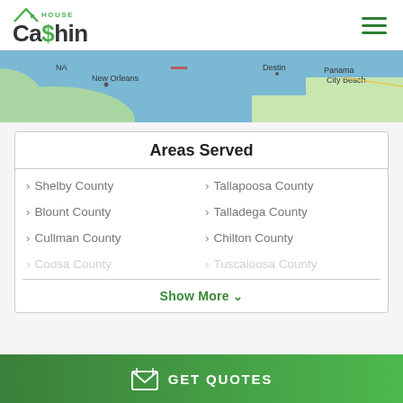[Figure (logo): House Cashin logo with green house icon and dollar sign]
[Figure (map): Map strip showing Gulf Coast region including New Orleans, Destin, and Panama City Beach]
Areas Served
> Shelby County
> Tallapoosa County
> Blount County
> Talladega County
> Cullman County
> Chilton County
> Coosa County
> Tuscaloosa County
Show More
GET QUOTES